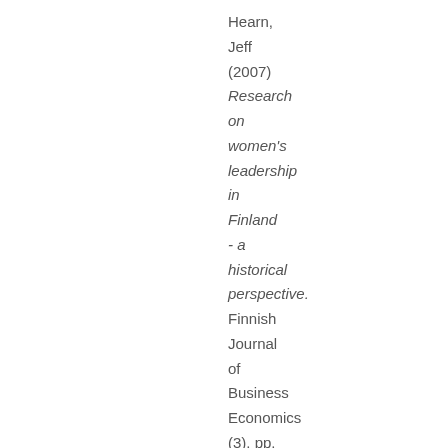Hearn, Jeff (2007) Research on women's leadership in Finland - a historical perspective. Finnish Journal of Business Economics (3). pp. 294-321. ISSN